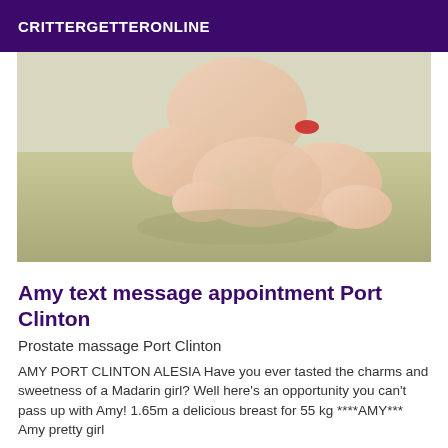CRITTERGETTERONLINE
[Figure (photo): Photo of a person kneeling on a light green bed, viewed from behind, wearing minimal clothing]
Amy text message appointment Port Clinton
Prostate massage Port Clinton
AMY PORT CLINTON ALESIA Have you ever tasted the charms and sweetness of a Madarin girl? Well here's an opportunity you can't pass up with Amy! 1.65m a delicious breast for 55 kg ****AMY*** Amy pretty girl